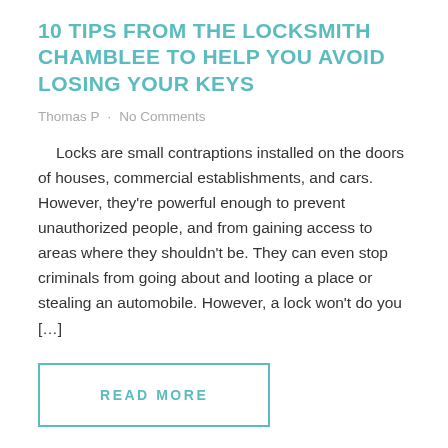10 TIPS FROM THE LOCKSMITH CHAMBLEE TO HELP YOU AVOID LOSING YOUR KEYS
Thomas P  ·  No Comments
Locks are small contraptions installed on the doors of houses, commercial establishments, and cars. However, they're powerful enough to prevent unauthorized people, and from gaining access to areas where they shouldn't be. They can even stop criminals from going about and looting a place or stealing an automobile. However, a lock won't do you […]
READ MORE